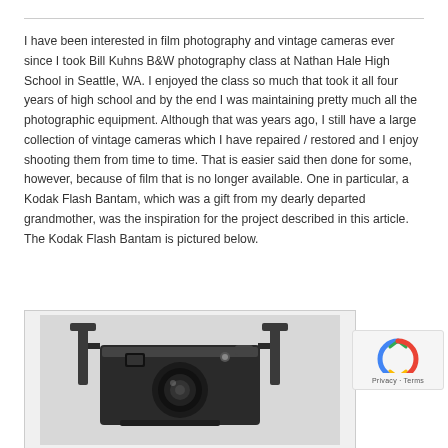I have been interested in film photography and vintage cameras ever since I took Bill Kuhns B&W photography class at Nathan Hale High School in Seattle, WA. I enjoyed the class so much that took it all four years of high school and by the end I was maintaining pretty much all the photographic equipment. Although that was years ago, I still have a large collection of vintage cameras which I have repaired / restored and I enjoy shooting them from time to time. That is easier said then done for some, however, because of film that is no longer available. One in particular, a Kodak Flash Bantam, which was a gift from my dearly departed grandmother, was the inspiration for the project described in this article. The Kodak Flash Bantam is pictured below.
[Figure (photo): Black and white photograph of a Kodak Flash Bantam vintage camera, showing the front and top of the folding camera with flash attachment brackets visible.]